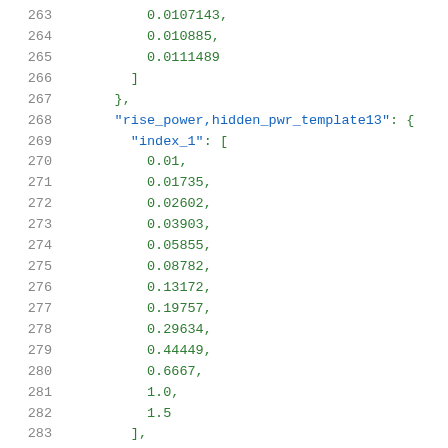263        0.0107143,
264        0.010885,
265        0.0111489
266      ]
267    },
268    "rise_power,hidden_pwr_template13": {
269      "index_1": [
270        0.01,
271        0.01735,
272        0.02602,
273        0.03903,
274        0.05855,
275        0.08782,
276        0.13172,
277        0.19757,
278        0.29634,
279        0.44449,
280        0.6667,
281        1.0,
282        1.5
283      ],
284      "values": [